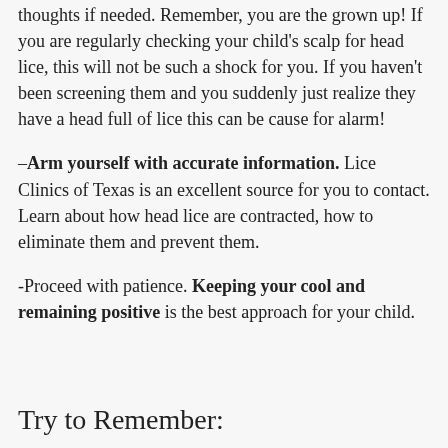Take a few moments to gather your thoughts if needed. Remember, you are the grown up! If you are regularly checking your child's scalp for head lice, this will not be such a shock for you. If you haven't been screening them and you suddenly just realize they have a head full of lice this can be cause for alarm!
–Arm yourself with accurate information. Lice Clinics of Texas is an excellent source for you to contact. Learn about how head lice are contracted, how to eliminate them and prevent them.
-Proceed with patience. Keeping your cool and remaining positive is the best approach for your child.
Try to Remember: